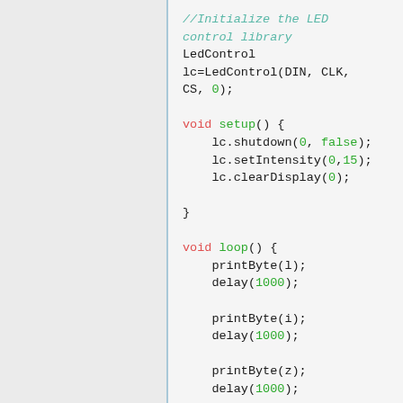[Figure (screenshot): Code snippet showing Arduino LED control library initialization and loop functions with syntax highlighting: comments in teal italic, keywords in red, values in green.]